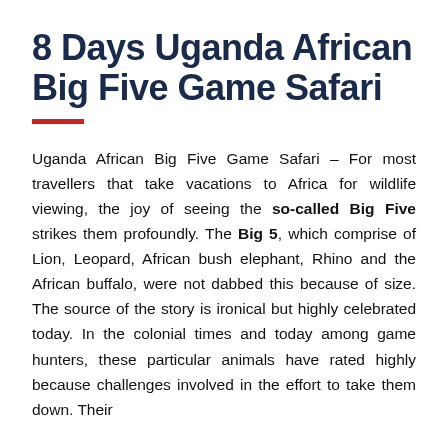8 Days Uganda African Big Five Game Safari
Uganda African Big Five Game Safari – For most travellers that take vacations to Africa for wildlife viewing, the joy of seeing the so-called Big Five strikes them profoundly. The Big 5, which comprise of Lion, Leopard, African bush elephant, Rhino and the African buffalo, were not dabbed this because of size. The source of the story is ironical but highly celebrated today. In the colonial times and today among game hunters, these particular animals have rated highly because challenges involved in the effort to take them down. Their